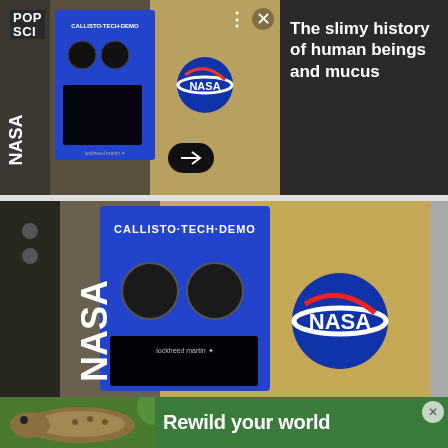[Figure (photo): NASA Callisto Tech Demo device mounted inside spacecraft, blue panel with two circular speakers and a screen, gold panel with NASA meatball logo, small thumbnail view]
POP SCI
The slimy history of human beings and mucus
[Figure (photo): Close-up of NASA Callisto Tech Demo device, blue panel labeled CALLISTO TECH DEMO with two circular speakers and a black screen, gold panel with large NASA meatball logo, mounted in spacecraft interior]
[Figure (photo): Advertisement banner: lizard/bearded dragon image on left, text Rewild your world on green background]